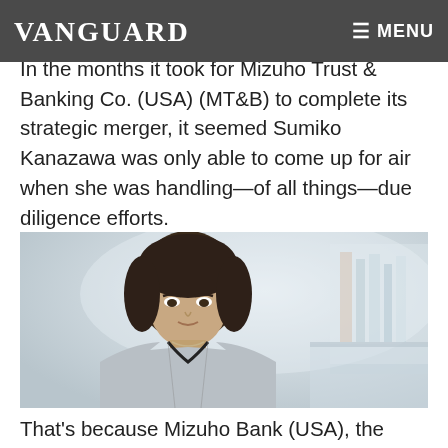VANGUARD  ≡ MENU
In the months it took for Mizuho Trust & Banking Co. (USA) (MT&B) to complete its strategic merger, it seemed Sumiko Kanazawa was only able to come up for air when she was handling—of all things—due diligence efforts.
[Figure (photo): Professional headshot of Sumiko Kanazawa, a woman with short dark hair wearing a light gray blazer, standing in an office environment with a blurred background.]
That's because Mizuho Bank (USA), the entity